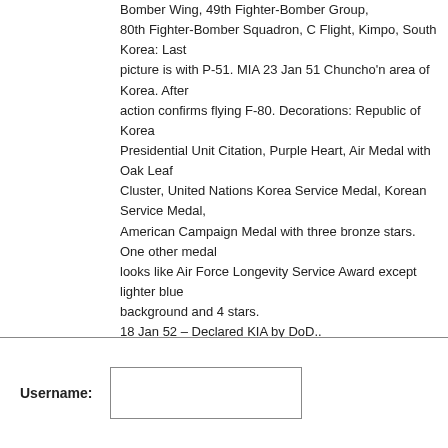Bomber Wing, 49th Fighter-Bomber Group, 80th Fighter-Bomber Squadron, C Flight, Kimpo, South Korea: Last picture is with P-51. MIA 23 Jan 51 Chuncho'n area of Korea. After action confirms flying F-80. Decorations: Republic of Korea Presidential Unit Citation, Purple Heart, Air Medal with Oak Leaf Cluster, United Nations Korea Service Medal, Korean Service Medal, American Campaign Medal with three bronze stars. One other medal looks like Air Force Longevity Service Award except lighter blue background and 4 stars. 18 Jan 52 – Declared KIA by DoD..
Username: